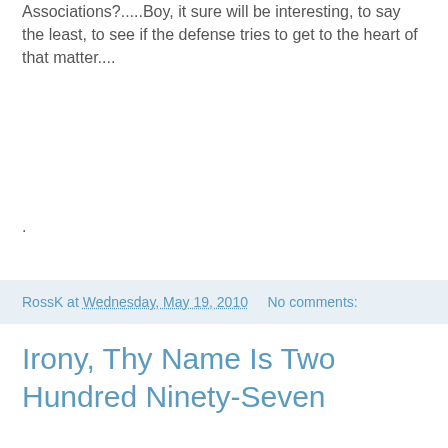Associations?.....Boy, it sure will be interesting, to say the least, to see if the defense tries to get to the heart of that matter....
.
RossK at Wednesday, May 19, 2010   No comments:
Irony, Thy Name Is Two Hundred Ninety-Seven
KnowYourLimit
PlayWithinItVille
I dunno about you, but something buried deep within Mark Hume's RailGate Day 1 Round-Up in the Globe struck me as just literally too bizarre for words.....